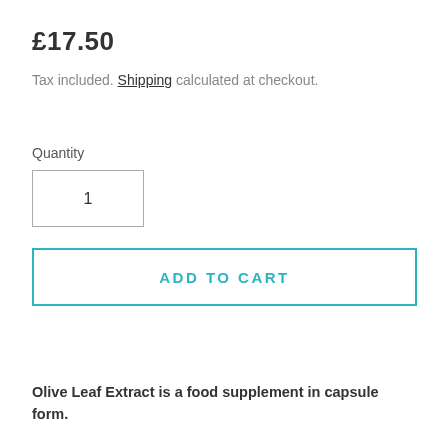£17.50
Tax included. Shipping calculated at checkout.
Quantity
1
ADD TO CART
Olive Leaf Extract is a food supplement in capsule form.